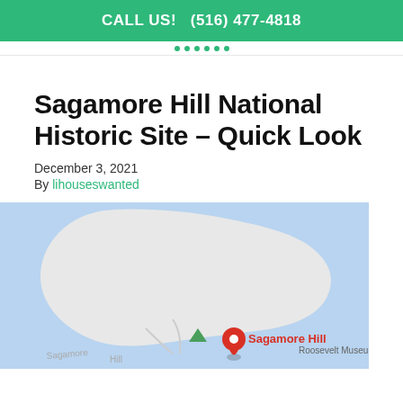CALL US!   (516) 477-4818
Sagamore Hill National Historic Site – Quick Look
December 3, 2021
By lihouseswanted
[Figure (map): Google Maps view of Sagamore Hill National Historic Site showing the park boundary on a blue water background, with a red location pin labeled 'Sagamore Hill' and partial text 'Roosevelt Museum' visible at right.]